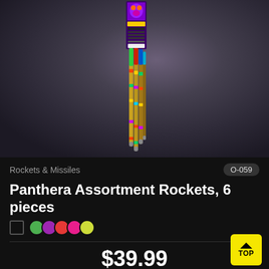[Figure (photo): Product photo of Panthera Assortment Rockets 6 pieces — tall thin bundle of rocket fireworks with colorful packaging showing a panther, on a dark gray/purple gradient background]
Rockets & Missiles
O-059
Panthera Assortment Rockets, 6 pieces
$39.99
Add to Favorites